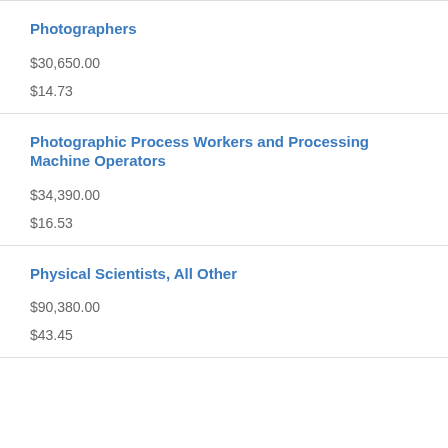Photographers
$30,650.00
$14.73
Photographic Process Workers and Processing Machine Operators
$34,390.00
$16.53
Physical Scientists, All Other
$90,380.00
$43.45